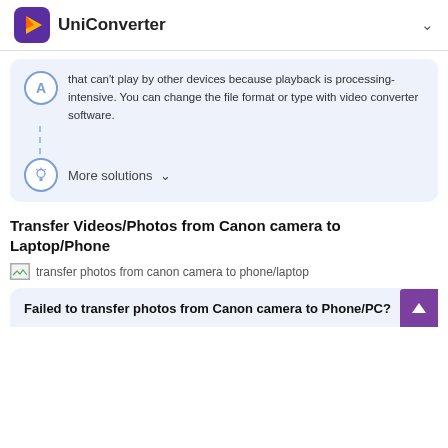UniConverter
that can't play by other devices because playback is processing-intensive. You can change the file format or type with video converter software.
More solutions
Transfer Videos/Photos from Canon camera to Laptop/Phone
[Figure (photo): Image placeholder: transfer photos from canon camera to phone/laptop]
Failed to transfer photos from Canon camera to Phone/PC?